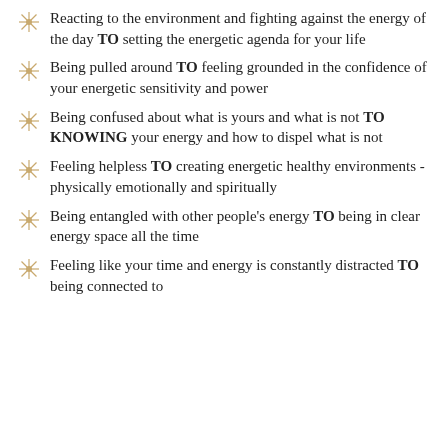Reacting to the environment and fighting against the energy of the day TO setting the energetic agenda for your life
Being pulled around TO feeling grounded in the confidence of your energetic sensitivity and power
Being confused about what is yours and what is not TO KNOWING your energy and how to dispel what is not
Feeling helpless TO creating energetic healthy environments - physically emotionally and spiritually
Being entangled with other people's energy TO being in clear energy space all the time
Feeling like your time and energy is constantly distracted TO being connected to